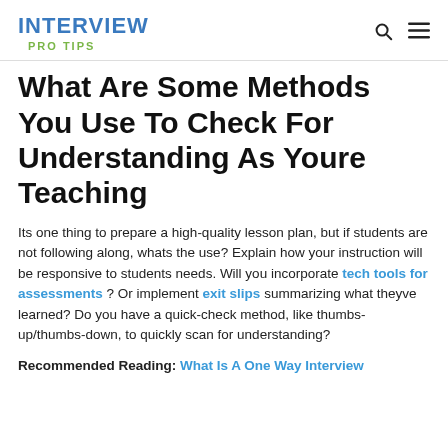INTERVIEW PRO TIPS
What Are Some Methods You Use To Check For Understanding As Youre Teaching
Its one thing to prepare a high-quality lesson plan, but if students are not following along, whats the use? Explain how your instruction will be responsive to students needs. Will you incorporate tech tools for assessments ? Or implement exit slips summarizing what theyve learned? Do you have a quick-check method, like thumbs-up/thumbs-down, to quickly scan for understanding?
Recommended Reading: What Is A One Way Interview